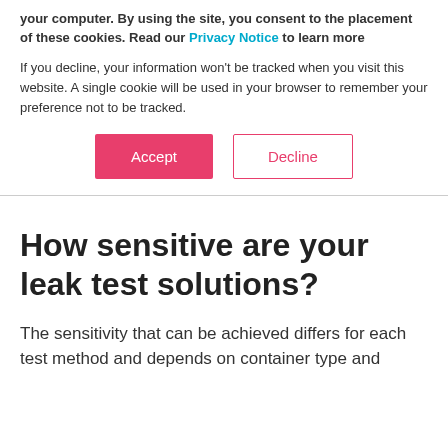your computer. By using the site, you consent to the placement of these cookies. Read our Privacy Notice to learn more
If you decline, your information won't be tracked when you visit this website. A single cookie will be used in your browser to remember your preference not to be tracked.
[Figure (other): Two buttons: a pink filled Accept button and a white Decline button with pink border]
How sensitive are your leak test solutions?
The sensitivity that can be achieved differs for each test method and depends on container type and